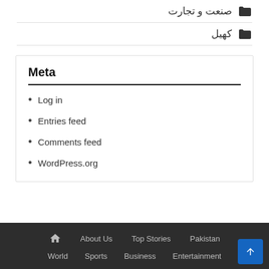صنعت و تجارت
کھیل
Meta
Log in
Entries feed
Comments feed
WordPress.org
🏠  About Us  Top Stories  Pakistan  World  Sports  Business  Entertainment